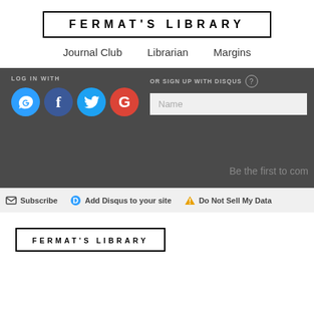FERMAT'S LIBRARY
Journal Club   Librarian   Margins
[Figure (screenshot): Disqus login widget with dark background showing LOG IN WITH label, four social icons (Disqus blue, Facebook dark blue, Twitter light blue, Google red), OR SIGN UP WITH DISQUS label with help icon, and a Name input field]
Be the first to com
Subscribe   Add Disqus to your site   Do Not Sell My Data
[Figure (logo): Fermat's Library logo in a bordered box at the bottom of the page]